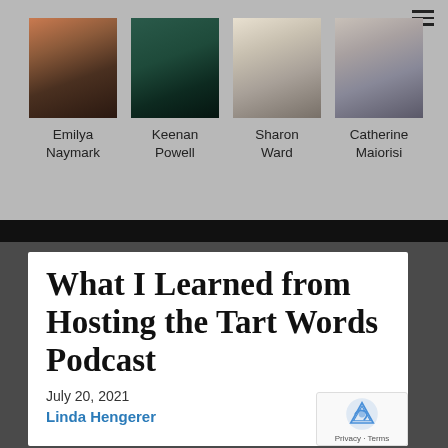[Figure (photo): Four portrait photos of authors in a row on gray background]
Emilya Naymark
Keenan Powell
Sharon Ward
Catherine Maiorisi
What I Learned from Hosting the Tart Words Podcast
July 20, 2021
Linda Hengerer